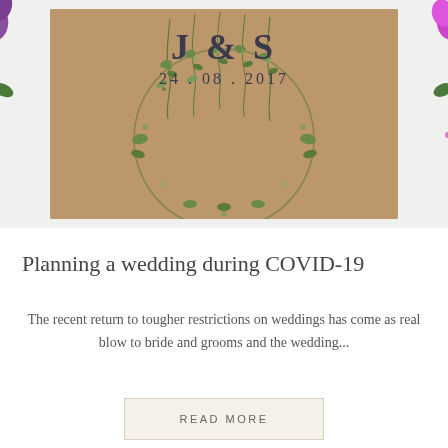[Figure (photo): A rustic kraft paper wedding invitation card with botanical vine/leaf wreath design, showing monogram 'J & S' and date '24.08.2017', surrounded by purple and green flowers]
Planning a wedding during COVID-19
The recent return to tougher restrictions on weddings has come as real blow to bride and grooms and the wedding...
READ MORE